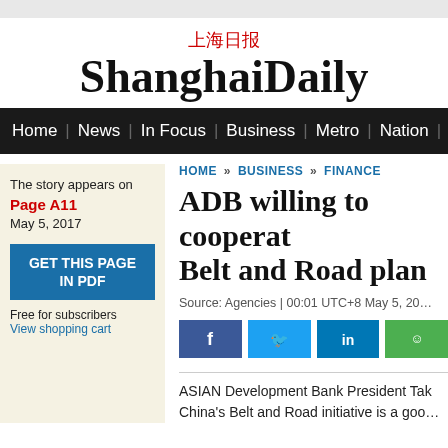上海日报 ShanghaiDaily
Home | News | In Focus | Business | Metro | Nation | Wor…
The story appears on Page A11 May 5, 2017
GET THIS PAGE IN PDF
Free for subscribers View shopping cart
HOME » BUSINESS » FINANCE
ADB willing to cooperate Belt and Road plan
Source: Agencies | 00:01 UTC+8 May 5, 20…
[Figure (other): Social media share buttons: Facebook, Twitter, LinkedIn, WeChat]
ASIAN Development Bank President Tak… China's Belt and Road initiative is a goo…